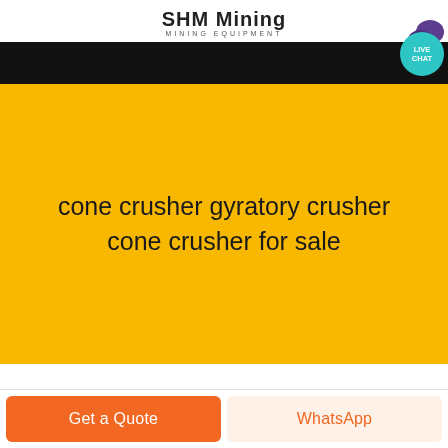SHM Mining
MINING EQUIPMENT
[Figure (screenshot): Dark navigation bar with LIVE CHAT bubble in teal circle with purple chat icons on the right side]
cone crusher gyratory crusher cone crusher for sale
Get a Quote
WhatsApp